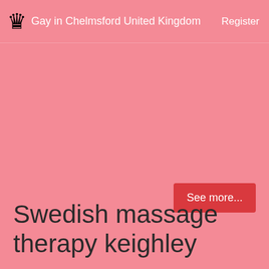♛ Gay in Chelmsford United Kingdom   Register
See more...
Swedish massage therapy keighley